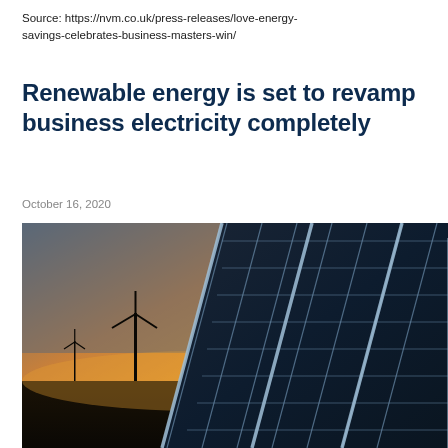Source: https://nvm.co.uk/press-releases/love-energy-savings-celebrates-business-masters-win/
Renewable energy is set to revamp business electricity completely
October 16, 2020
[Figure (photo): Photo of solar panels in the foreground with wind turbines silhouetted against an orange sunset sky in the background]